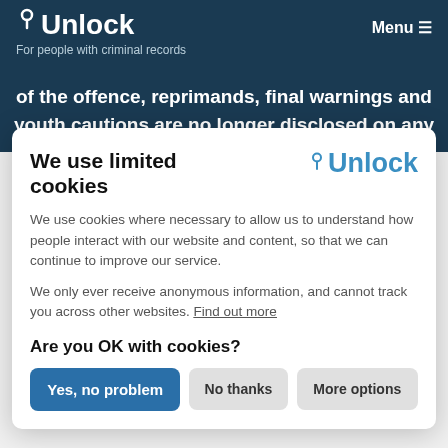Unlock – For people with criminal records | Menu
of the offence, reprimands, final warnings and youth cautions are no longer disclosed on any
We use limited cookies
We use cookies where necessary to allow us to understand how people interact with our website and content, so that we can continue to improve our service.

We only ever receive anonymous information, and cannot track you across other websites. Find out more
Are you OK with cookies?
Yes, no problem | No thanks | More options